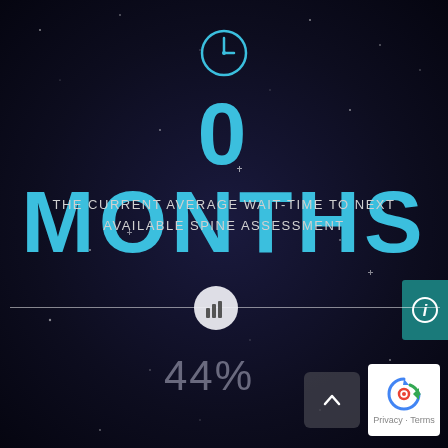[Figure (infographic): Clock icon (circle with clock hands) in cyan/blue color]
0 MONTHS
THE CURRENT AVERAGE WAIT-TIME TO NEXT AVAILABLE SPINE ASSESSMENT
[Figure (infographic): Horizontal progress/slider line with a circular chart icon marker at approximately 44% position]
44%
[Figure (infographic): Info button (teal rectangle with i icon) on right edge]
[Figure (infographic): Back/up arrow button (dark rounded rectangle) at bottom right]
[Figure (infographic): Google reCAPTCHA badge with Privacy and Terms links]